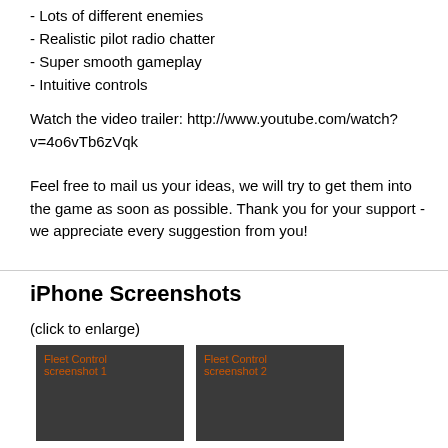- Lots of different enemies
- Realistic pilot radio chatter
- Super smooth gameplay
- Intuitive controls
Watch the video trailer: http://www.youtube.com/watch?v=4o6vTb6zVqk
Feel free to mail us your ideas, we will try to get them into the game as soon as possible. Thank you for your support - we appreciate every suggestion from you!
iPhone Screenshots
(click to enlarge)
[Figure (screenshot): Fleet Control screenshot 1 - dark background thumbnail]
[Figure (screenshot): Fleet Control screenshot 2 - dark background thumbnail]